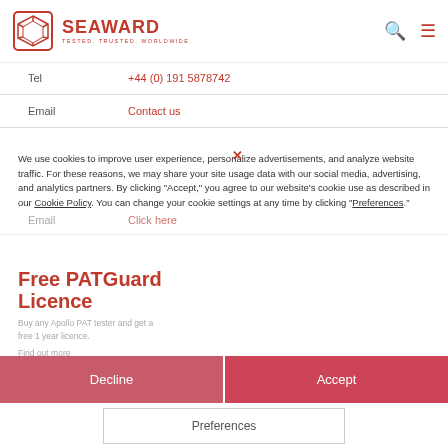SEAWARD — TESTED. TRUSTED. WORLDWIDE.
Tel    +44 (0) 191 5878742
Email    Contact us
Accounts Purchase Ledger
Tel    +44 (0) 191 5878756
Email    Click here
Free PATGuard Licence
Buy any Apollo PAT tester and get a free 1 year licence.
Find out more
We use cookies to improve user experience, personalize advertisements, and analyze website traffic. For these reasons, we may share your site usage data with our social media, advertising, and analytics partners. By clicking "Accept," you agree to our website's cookie use as described in our Cookie Policy. You can change your cookie settings at any time by clicking "Preferences."
Decline
Accept
Preferences